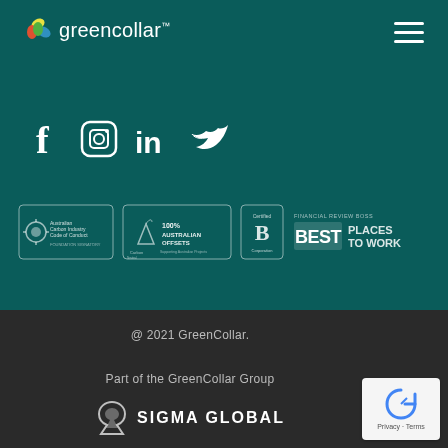[Figure (logo): GreenCollar logo with colorful leaf icon and white text on teal background]
[Figure (illustration): Hamburger menu icon (three horizontal white lines) in top right corner]
[Figure (illustration): Social media icons: Facebook, Instagram, LinkedIn, Twitter in white on teal background]
[Figure (illustration): Four certification/award badges: Australian Carbon Industry Code of Conduct, 100% Australian Offsets Carbon Neutral, Certified B Corporation, Financial Review Boss Best Places to Work]
@ 2021 GreenCollar.
Part of the GreenCollar Group
[Figure (logo): Sigma Global logo with stylized S icon and text]
[Figure (illustration): reCAPTCHA widget box with Privacy and Terms text]